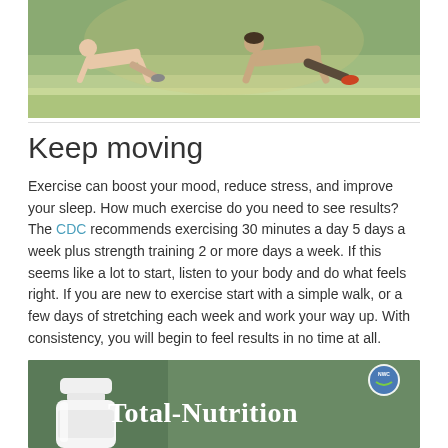[Figure (photo): Two people doing push-ups on grass outdoors]
Keep moving
Exercise can boost your mood, reduce stress, and improve your sleep. How much exercise do you need to see results? The CDC recommends exercising 30 minutes a day 5 days a week plus strength training 2 or more days a week. If this seems like a lot to start, listen to your body and do what feels right. If you are new to exercise start with a simple walk, or a few days of stretching each week and work your way up. With consistency, you will begin to feel results in no time at all.
[Figure (photo): Advertisement for Total-Nutrition supplement product with white bottle on green background and NWC logo]